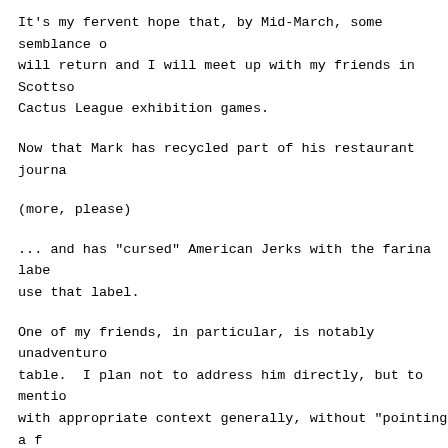It's my fervent hope that, by Mid-March, some semblance of normalcy will return and I will meet up with my friends in Scottsdale for Cactus League exhibition games.
Now that Mark has recycled part of his restaurant journal...
(more, please)
... and has "cursed" American Jerks with the farina label... use that label.
One of my friends, in particular, is notably unadventurous at the table.  I plan not to address him directly, but to mention it with appropriate context generally, without "pointing a finger" (let him squirm).  I have seven months to figure this out